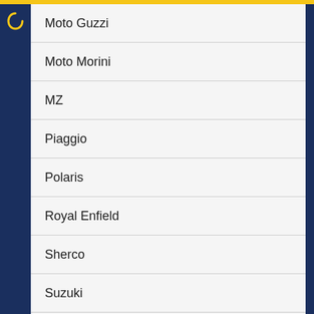Moto Guzzi
Moto Morini
MZ
Piaggio
Polaris
Royal Enfield
Sherco
Suzuki
Triumph